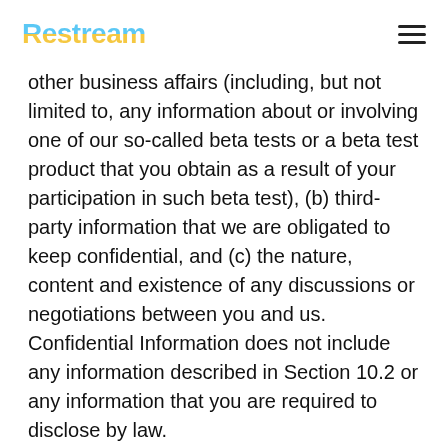Restream
other business affairs (including, but not limited to, any information about or involving one of our so-called beta tests or a beta test product that you obtain as a result of your participation in such beta test), (b) third-party information that we are obligated to keep confidential, and (c) the nature, content and existence of any discussions or negotiations between you and us. Confidential Information does not include any information described in Section 10.2 or any information that you are required to disclose by law.